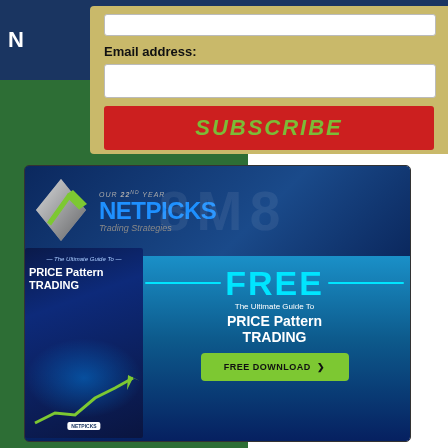Email address:
SUBSCRIBE
[Figure (illustration): NetPicks Trading Strategies advertisement banner. Features the NetPicks logo with an arrow graphic and 'OUR 22nd YEAR' tagline. Bottom section shows a book cover 'The Ultimate Guide to PRICE Pattern TRADING' on a blue gradient background with text: FREE - The Ultimate Guide To PRICE Pattern TRADING, and a green FREE DOWNLOAD button with a chevron arrow.]